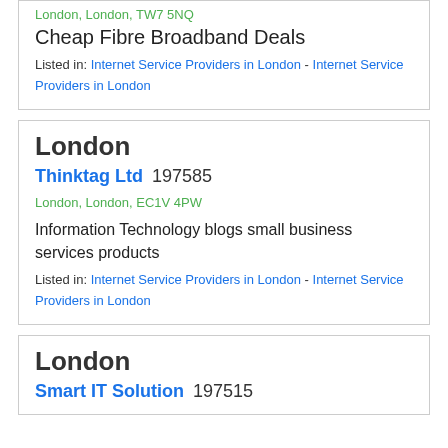London, London, TW7 5NQ
Cheap Fibre Broadband Deals
Listed in: Internet Service Providers in London - Internet Service Providers in London
London
Thinktag Ltd 197585
London, London, EC1V 4PW
Information Technology blogs small business services products
Listed in: Internet Service Providers in London - Internet Service Providers in London
London
Smart IT Solution 197515